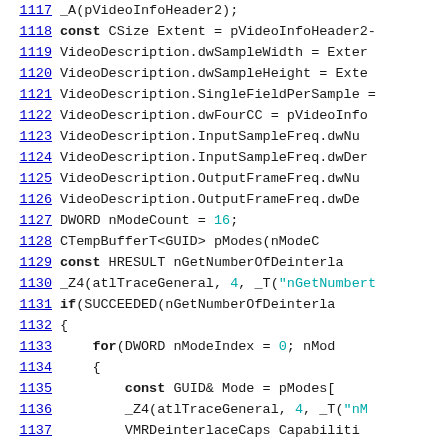Code listing lines 1117-1137 showing C++ source code with VideoDescription and deinterlace-related assignments
1117: _A(pVideoInfoHeader2);
1118: const CSize Extent = pVideoInfoHeader2-
1119: VideoDescription.dwSampleWidth = Exter
1120: VideoDescription.dwSampleHeight = Exte
1121: VideoDescription.SingleFieldPerSample =
1122: VideoDescription.dwFourCC = pVideoInfo
1123: VideoDescription.InputSampleFreq.dwNu
1124: VideoDescription.InputSampleFreq.dwDer
1125: VideoDescription.OutputFrameFreq.dwNu
1126: VideoDescription.OutputFrameFreq.dwDe
1127: DWORD nModeCount = 16;
1128: CTempBufferT<GUID> pModes(nModeC
1129: const HRESULT nGetNumberOfDeinterla
1130: _Z4(atlTraceGeneral, 4, _T("nGetNumbert
1131: if(SUCCEEDED(nGetNumberOfDeinterla
1132: {
1133: for(DWORD nModeIndex = 0; nMod
1134: {
1135: const GUID& Mode = pModes[
1136: _Z4(atlTraceGeneral, 4, _T("nM
1137: VMRDeinterlaceCaps Capabiliti